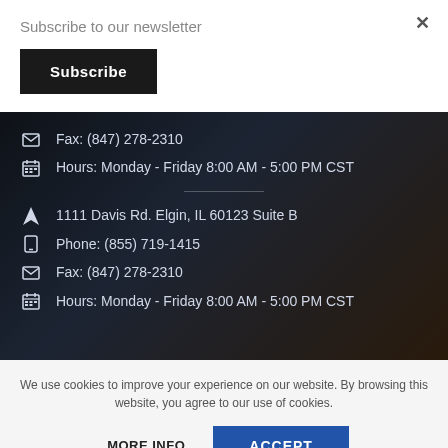Subscribe to our newsletter
Subscribe
×
Fax: (847) 278-2310
Hours: Monday - Friday 8:00 AM - 5:00 PM CST
1111 Davis Rd. Elgin, IL 60123 Suite B
Phone: (855) 719-1415
Fax: (847) 278-2310
Hours: Monday - Friday 8:00 AM - 5:00 PM CST
We use cookies to improve your experience on our website. By browsing this website, you agree to our use of cookies.
MORE INFO
ACCEPT